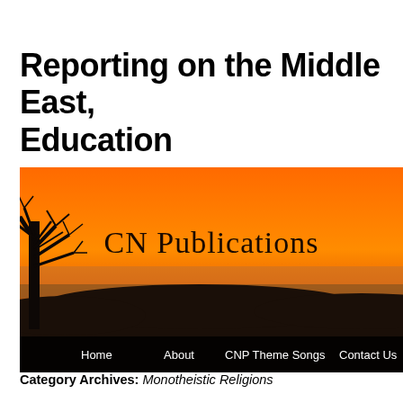Reporting on the Middle East, Education
[Figure (photo): Website banner image showing a sunset landscape with silhouetted bare trees and rolling hills in orange and dark tones, with 'CN Publications' text overlay and a navigation bar at the bottom showing Home, About, CNP Theme Songs, Contact Us, Multimedia Pa...]
Category Archives: Monotheistic Religions